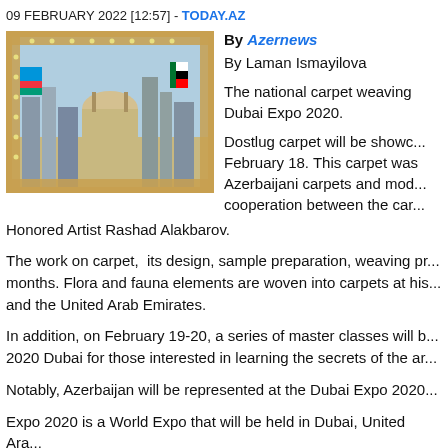09 FEBRUARY 2022 [12:57] - TODAY.AZ
[Figure (photo): Framed carpet image showing Azerbaijani and UAE flags, city skylines, and mosque, with ornate jeweled border]
By Azernews
By Laman Ismayilova
The national carpet weaving Dubai Expo 2020.
Dostlug carpet will be showcased February 18. This carpet was Azerbaijani carpets and mod cooperation between the car Honored Artist Rashad Alakbarov.
The work on carpet,  its design, sample preparation, weaving pr months. Flora and fauna elements are woven into carpets at his and the United Arab Emirates.
In addition, on February 19-20, a series of master classes will b 2020 Dubai for those interested in learning the secrets of the ar
Notably, Azerbaijan will be represented at the Dubai Expo 2020
Expo 2020 is a World Expo that will be held in Dubai, United Ara March 31, 2022.